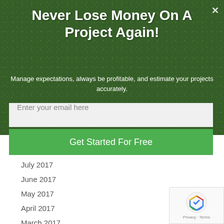Never Lose Money On A Project Again!
Manage expectations, always be profitable, and estimate your projects accurately.
Enter your email here
Get Started For Free
July 2017
June 2017
May 2017
April 2017
March 2017
February 2017
January 2017